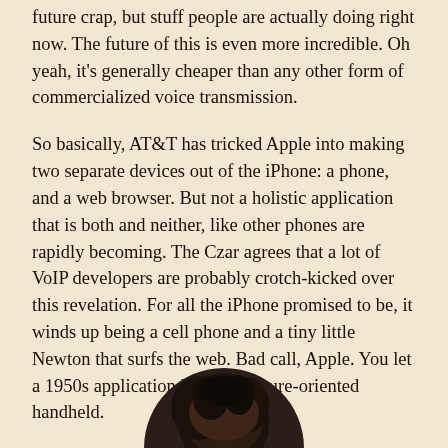future crap, but stuff people are actually doing right now. The future of this is even more incredible. Oh yeah, it's generally cheaper than any other form of commercialized voice transmission.
So basically, AT&T has tricked Apple into making two separate devices out of the iPhone: a phone, and a web browser. But not a holistic application that is both and neither, like other phones are rapidly becoming. The Czar agrees that a lot of VoIP developers are probably crotch-kicked over this revelation. For all the iPhone promised to be, it winds up being a cell phone and a tiny little Newton that surfs the web. Bad call, Apple. You let a 1950s application kill your future-oriented handheld.
[Figure (photo): Partial photo of a person's head/hair visible at the bottom of the page, circular crop]